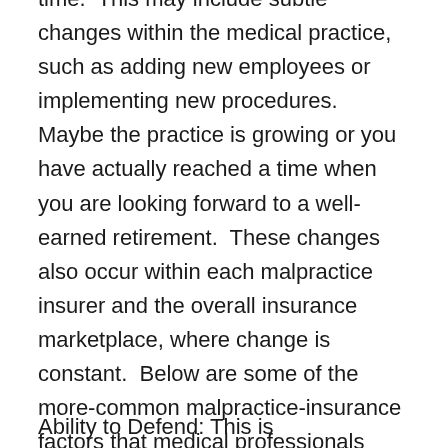time.  This may include subtle changes within the medical practice, such as adding new employees or implementing new procedures.  Maybe the practice is growing or you have actually reached a time when you are looking forward to a well-earned retirement.  These changes also occur within each malpractice insurer and the overall insurance marketplace, where change is constant.  Below are some of the more-common malpractice-insurance factors that medical professionals must consider with regard to the health of their malpractice coverage.
Ability to Defend: This is